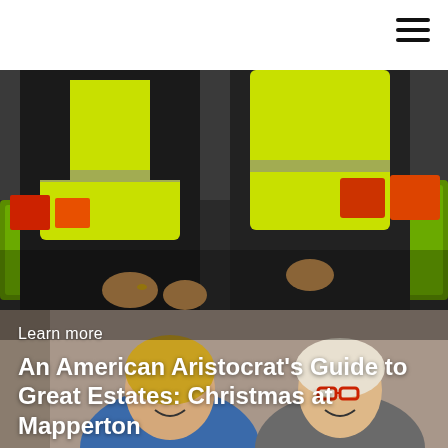[Figure (photo): Two people wearing bright yellow hi-vis vests packing or sorting items into green plastic crates, surrounded by food and gift items.]
[Figure (photo): Two women smiling at the camera, one wearing a blue outfit and one with red glasses, with decorative items in the background.]
Learn more
An American Aristocrat's Guide to Great Estates: Christmas at Mapperton